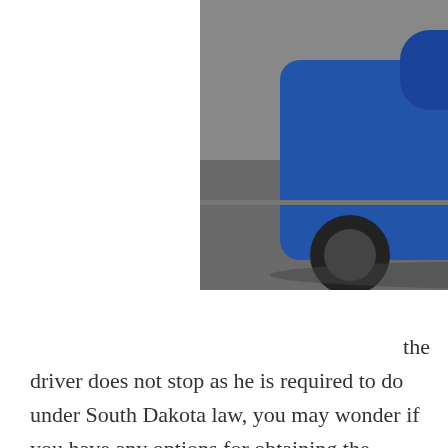[Figure (photo): A damaged blue car with a crushed rear end, photographed on a road surface. The car has significant rear-end collision damage.]
the driver does not stop as he is required to do under South Dakota law, you may wonder if you have any options for obtaining the compensation you deserve for your injuries. This is a valid concern since the bottom line is that you cannot hold the negligent driver responsible if you cannot locate him. Fortunately, you may have more possibilities than you think for obtaining the compensation you are entitled to.